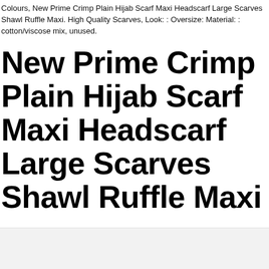Colours, New Prime Crimp Plain Hijab Scarf Maxi Headscarf Large Scarves Shawl Ruffle Maxi. High Quality Scarves, Look: Oversize: Material: : cotton/viscose mix, unused.
New Prime Crimp Plain Hijab Scarf Maxi Headscarf Large Scarves Shawl Ruffle Maxi
[Figure (photo): Partially visible image at the bottom of the page, appears to be a product photo (light gray placeholder area)]